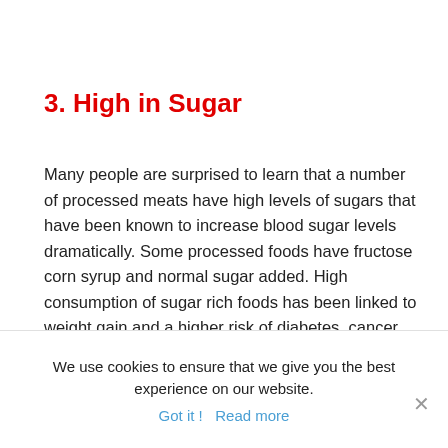3. High in Sugar
Many people are surprised to learn that a number of processed meats have high levels of sugars that have been known to increase blood sugar levels dramatically. Some processed foods have fructose corn syrup and normal sugar added. High consumption of sugar rich foods has been linked to weight gain and a higher risk of diabetes, cancer and mental health problems such as ADHD.
We use cookies to ensure that we give you the best experience on our website.
Got it !   Read more